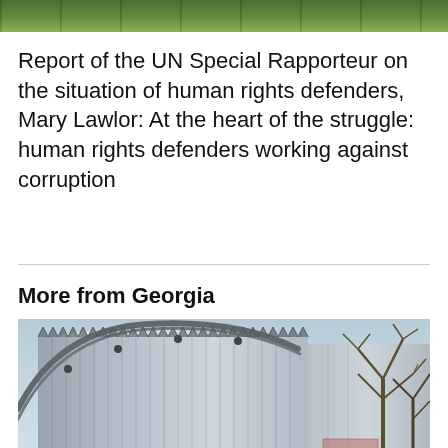[Figure (photo): Top portion of a photo showing outdoor scene with green fence/barrier, partially visible at top of page]
Report of the UN Special Rapporteur on the situation of human rights defenders, Mary Lawlor: At the heart of the struggle: human rights defenders working against corruption
More from Georgia
[Figure (photo): Photo of a building with metal paneled facade and security gate/arch structure, with bare trees visible on the right side, likely a detention or government facility in Georgia]